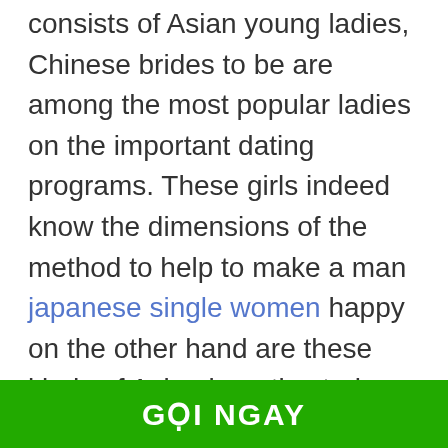consists of Asian young ladies, Chinese brides to be are among the most popular ladies on the important dating programs. These girls indeed know the dimensions of the method to help to make a man japanese single women happy on the other hand are these kinds of Asian beauties truly exquisite for you? A Japanese bride and her near future international spouse must upload their registration of relationship.
However , whereas it could create some disbelief initially in the connection, you should use the cultural distinctions to make a much better connection. Femininity certainly is the first thing
GỌI NGAY